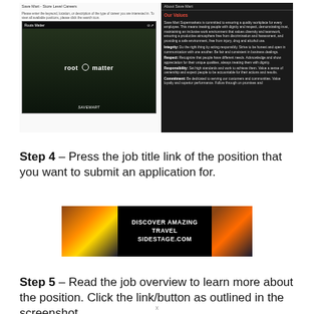[Figure (screenshot): Screenshot of Save Mart Store Level Careers webpage showing Search Jobs box on left (with red border highlight), a video thumbnail labeled 'Roots Matter' with 'root matter' text overlay, and an 'About Save Mart' panel on the right with 'Our Values' section in red listing Integrity, Respect, Responsibility, Commitment values]
Step 4 – Press the job title link of the position that you want to submit an application for.
[Figure (infographic): Advertisement banner for DISCOVER AMAZING TRAVEL SIDESTAGE.COM with sunset/landscape images on left and right sides and bold text in center on black background]
Step 5 – Read the job overview to learn more about the position. Click the link/button as outlined in the screenshot
x